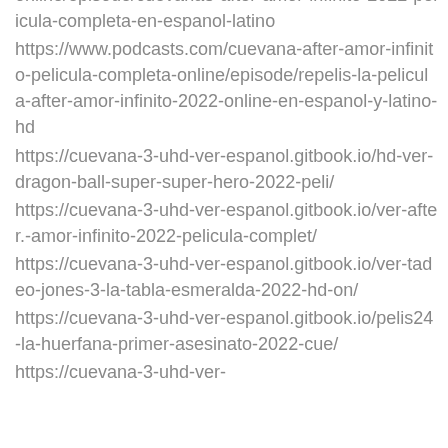online/episode/cuevana3-after-amor-infinito-2022-pelicula-completa-en-espanol-latino
https://www.podcasts.com/cuevana-after-amor-infinito-pelicula-completa-online/episode/repelis-la-pelicula-after-amor-infinito-2022-online-en-espanol-y-latino-hd
https://cuevana-3-uhd-ver-espanol.gitbook.io/hd-ver-dragon-ball-super-super-hero-2022-peli/
https://cuevana-3-uhd-ver-espanol.gitbook.io/ver-after.-amor-infinito-2022-pelicula-complet/
https://cuevana-3-uhd-ver-espanol.gitbook.io/ver-tadeo-jones-3-la-tabla-esmeralda-2022-hd-on/
https://cuevana-3-uhd-ver-espanol.gitbook.io/pelis24-la-huerfana-primer-asesinato-2022-cue/
https://cuevana-3-uhd-ver-